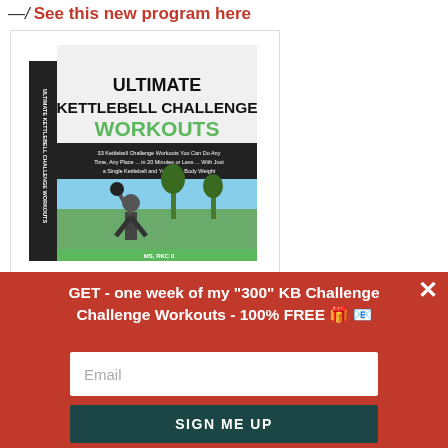→ See this new program here
[Figure (photo): Book cover of 'Ultimate Kettlebell Challenge Workouts' showing a man holding a kettlebell overhead outdoors. Subtitle: 33 Kettlebell Challenge Workouts You Can Do Any Time, Any Place...in 20 Minutes or Less...With Just a Single Kettlebell and Your Own Body Weight. Author: MS, RKC II]
GET - one week of my "300" KB Challenge Challenge Workouts - 100% FREE 🎁 📧
Email
SIGN ME UP